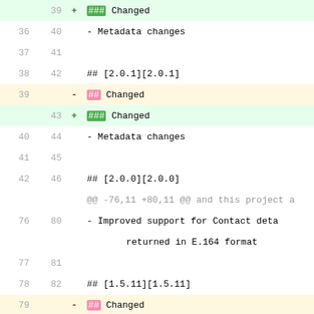| old_ln | new_ln | op | content |
| --- | --- | --- | --- |
|  | 39 | + | ### Changed |
| 36 | 40 |  | - Metadata changes |
| 37 | 41 |  |  |
| 38 | 42 |  | ## [2.0.1][2.0.1] |
| 39 |  | - | ## Changed |
|  | 43 | + | ### Changed |
| 40 | 44 |  | - Metadata changes |
| 41 | 45 |  |  |
| 42 | 46 |  | ## [2.0.0][2.0.0] |
|  |  |  | @@ -76,11 +80,11 @@ and this project a |
| 76 | 80 |  | - Improved support for Contact deta |
|  |  |  | returned in E.164 format |
| 77 | 81 |  |  |
| 78 | 82 |  | ## [1.5.11][1.5.11] |
| 79 |  | - | ## Changed |
|  | 83 | + | ### Changed |
| 80 | 84 |  | - Metadata updates |
| 81 | 85 |  |  |
| 82 | 86 |  | ## [1.5.10][1.5.10] |
| 83 |  | - | ## Changed |
|  | 87 | + | ### Changed |